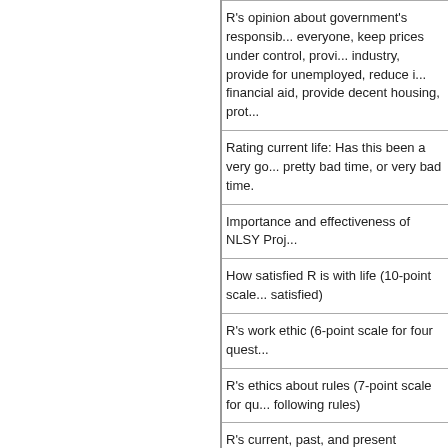R's opinion about government's responsibility: everyone, keep prices under control, provide industry, provide for unemployed, reduce financial aid, provide decent housing, prot...
Rating current life: Has this been a very go... pretty bad time, or very bad time.
Importance and effectiveness of NLSY Proj...
How satisfied R is with life (10-point scale... satisfied)
R's work ethic (6-point scale for four quest...
R's ethics about rules (7-point scale for qu... following rules)
R's current, past, and present position on t... represents best possible life and bottom ru...
Comparison to Other NLS Surveys: The N... The Children of the NLSY79 age 10 and old...